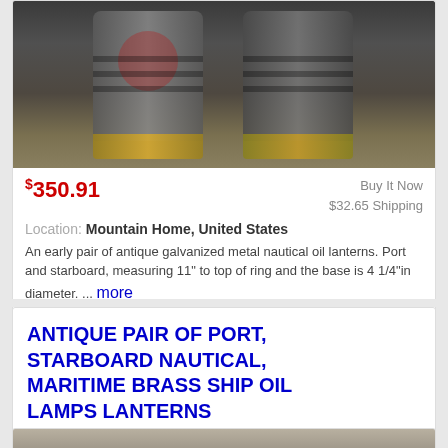[Figure (photo): Two antique galvanized metal nautical oil lanterns, port and starboard, with glass lenses and brass bases, shown from above on a light surface.]
$350.91   Buy It Now   $32.65 Shipping
Location: Mountain Home, United States
An early pair of antique galvanized metal nautical oil lanterns. Port and starboard, measuring 11" to top of ring and the base is 4 1/4"in diameter. ... more
ANTIQUE PAIR OF PORT, STARBOARD NAUTICAL, MARITIME BRASS SHIP OIL LAMPS LANTERNS
[Figure (photo): Two antique brass/silver maritime ship oil lamp lanterns with loop handles, shown side by side against a light background.]